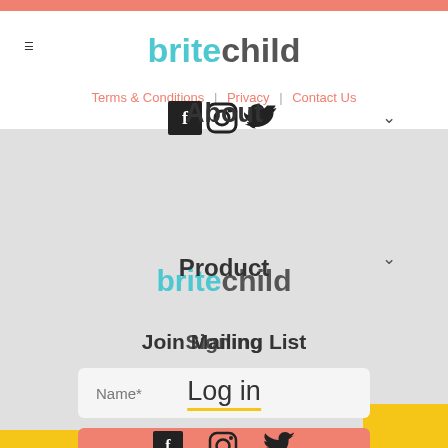britechild
Terms & Conditions | Privacy | Contact Us
[Figure (screenshot): Overlapping website UI elements: social media icons (Facebook, Instagram, Twitter), About label, Product label, brite child logo, Join Mailing List heading, Signing label, Log in overlay, Name and Email input fields, Subscribe button, yellow accent blocks, social icons row at bottom]
Join Mailing List
Name*
Email*
SUBSCRIBE